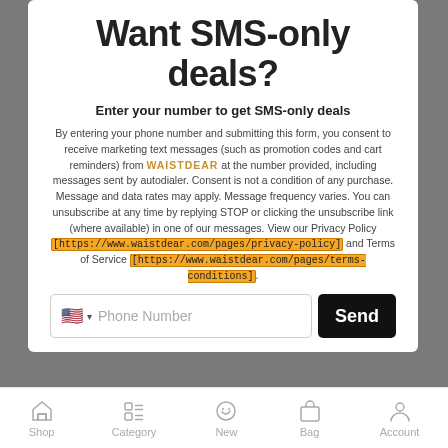Want SMS-only deals?
Enter your number to get SMS-only deals
By entering your phone number and submitting this form, you consent to receive marketing text messages (such as promotion codes and cart reminders) from WAISTDEAR at the number provided, including messages sent by autodialer. Consent is not a condition of any purchase. Message and data rates may apply. Message frequency varies. You can unsubscribe at any time by replying STOP or clicking the unsubscribe link (where available) in one of our messages. View our Privacy Policy [https://www.waistdear.com/pages/privacy-policy] and Terms of Service [https://www.waistdear.com/pages/terms-conditions].
Shop  Category  New  Bag  Account